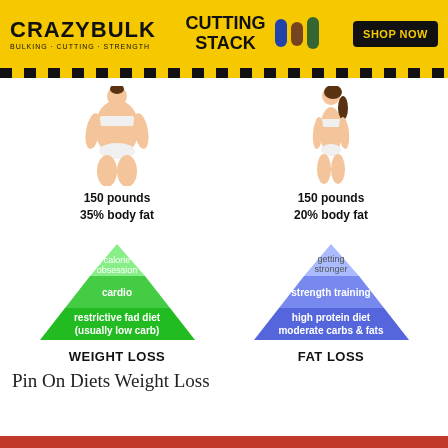[Figure (infographic): CrazyBulk Cutting Stack advertisement banner with logo, product name, supplement bottles, and SHOP NOW button on yellow background with black diagonal stripe border]
[Figure (infographic): Side-by-side comparison infographic showing two female figures: left figure is overweight (150 pounds, 35% body fat) with a green pyramid showing calorie obsession/cardio/restrictive fad diet (usually low carb) labeled WEIGHT LOSS; right figure is lean (150 pounds, 20% body fat) with a blue pyramid showing getting stronger/strength training/high protein diet moderate carbs & fats labeled FAT LOSS]
Pin On Diets Weight Loss